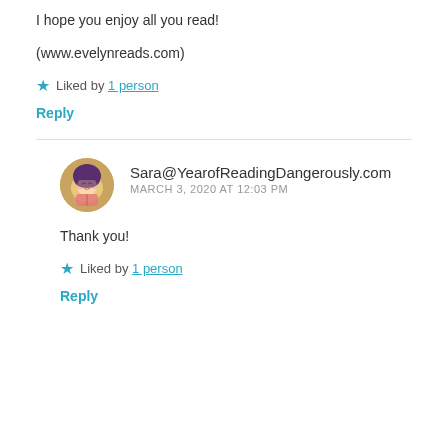I hope you enjoy all you read!
(www.evelynreads.com)
★ Liked by 1 person
Reply
Sara@YearofReadingDangerously.com
MARCH 3, 2020 AT 12:03 PM
Thank you!
★ Liked by 1 person
Reply